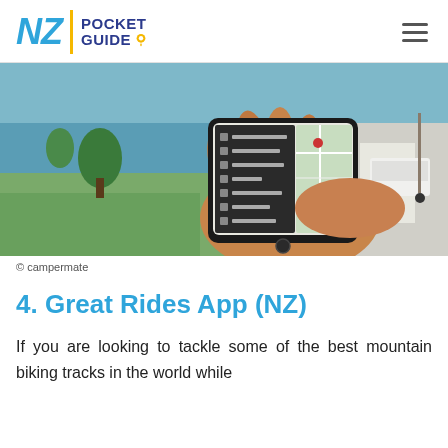NZ POCKET GUIDE
[Figure (photo): A hand holding a smartphone displaying the CamperMate app with a map and list of amenities including Public Toilet, Dump Station, Wifi, Petrol Station, Hostel, Groceries, i-SITE. Background shows a coastal park scene with grass, trees, and water.]
© campermate
4. Great Rides App (NZ)
If you are looking to tackle some of the best mountain biking tracks in the world while